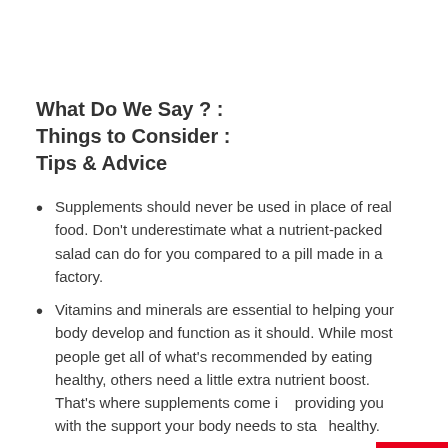What Do We Say ? :
Things to Consider :
Tips & Advice
Supplements should never be used in place of real food. Don't underestimate what a nutrient-packed salad can do for you compared to a pill made in a factory.
Vitamins and minerals are essential to helping your body develop and function as it should. While most people get all of what's recommended by eating healthy, others need a little extra nutrient boost. That's where supplements come in, providing you with the support your body needs to stay healthy.
Read the label, including ingredients, drug interactions…